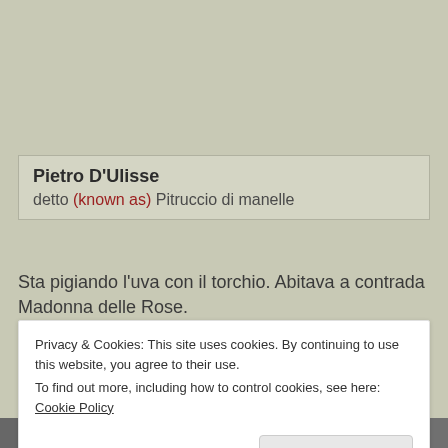Pietro D'Ulisse
detto (known as) Pitruccio di manelle
Sta pigiando l'uva con il torchio. Abitava a contrada Madonna delle Rose.
He is crushing grapes with a press. He lived in the Madonna delle Rose hamlet.
[Figure (photo): Black and white photograph partially visible at bottom of page, obscured by cookie consent banner]
Privacy & Cookies: This site uses cookies. By continuing to use this website, you agree to their use.
To find out more, including how to control cookies, see here: Cookie Policy
Close and accept